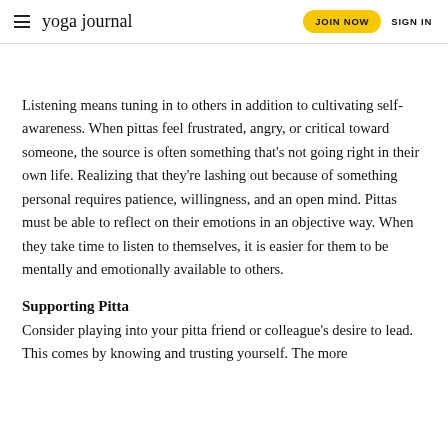yoga journal | JOIN NOW | SIGN IN
Listening means tuning in to others in addition to cultivating self-awareness. When pittas feel frustrated, angry, or critical toward someone, the source is often something that's not going right in their own life. Realizing that they're lashing out because of something personal requires patience, willingness, and an open mind. Pittas must be able to reflect on their emotions in an objective way. When they take time to listen to themselves, it is easier for them to be mentally and emotionally available to others.
Supporting Pitta
Consider playing into your pitta friend or colleague's desire to lead. This comes by knowing and trusting yourself. The more